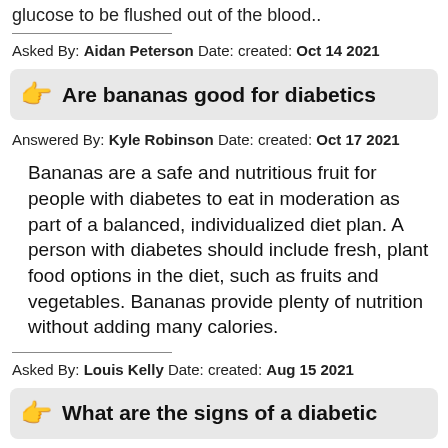glucose to be flushed out of the blood..
Asked By: Aidan Peterson Date: created: Oct 14 2021
Are bananas good for diabetics
Answered By: Kyle Robinson Date: created: Oct 17 2021
Bananas are a safe and nutritious fruit for people with diabetes to eat in moderation as part of a balanced, individualized diet plan. A person with diabetes should include fresh, plant food options in the diet, such as fruits and vegetables. Bananas provide plenty of nutrition without adding many calories.
Asked By: Louis Kelly Date: created: Aug 15 2021
What are the signs of a diabetic